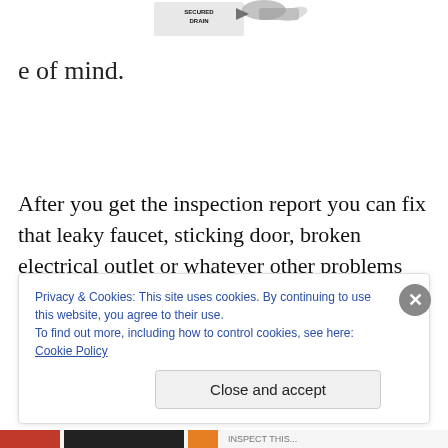[Figure (illustration): Partial image at top of page showing product labels including 'SECURED DRAIN' text and what appears to be drain/pipe product imagery in black and white]
e of mind.
After you get the inspection report you can fix that leaky faucet, sticking door, broken electrical outlet or whatever other problems the inspector finds and believe me they will fi...
Privacy & Cookies: This site uses cookies. By continuing to use this website, you agree to their use.
To find out more, including how to control cookies, see here: Cookie Policy

Close and accept